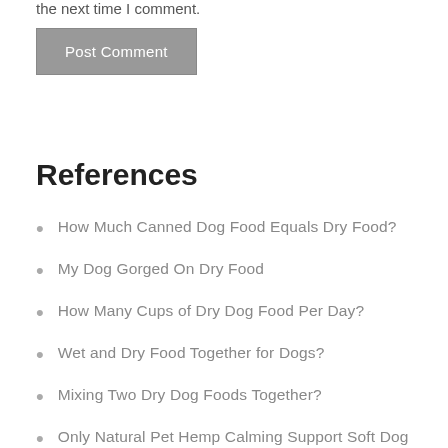the next time I comment.
Post Comment
References
How Much Canned Dog Food Equals Dry Food?
My Dog Gorged On Dry Food
How Many Cups of Dry Dog Food Per Day?
Wet and Dry Food Together for Dogs?
Mixing Two Dry Dog Foods Together?
Only Natural Pet Hemp Calming Support Soft Dog